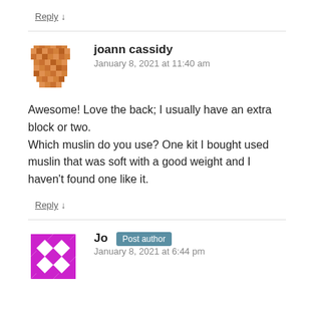Reply ↓
joann cassidy
January 8, 2021 at 11:40 am
Awesome! Love the back; I usually have an extra block or two.
Which muslin do you use? One kit I bought used muslin that was soft with a good weight and I haven't found one like it.
Reply ↓
Jo Post author
January 8, 2021 at 6:44 pm